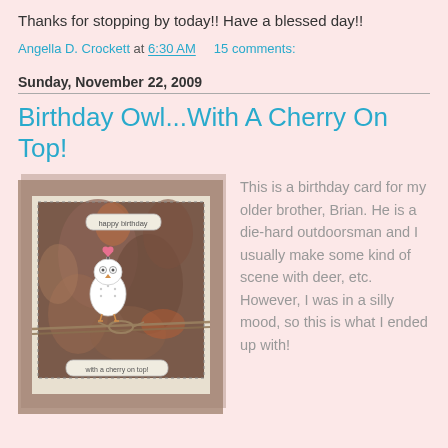Thanks for stopping by today!! Have a blessed day!!
Angella D. Crockett at 6:30 AM    15 comments:
Sunday, November 22, 2009
Birthday Owl...With A Cherry On Top!
[Figure (photo): A handmade birthday card featuring a white owl with a pink heart on its head, sitting on a decorative patterned background in earthy tones. The card has a taupe/brown mat frame, a cream inner layer, and is tied with a twine bow. Text labels on the card read 'happy birthday' and 'with a cherry on top'.]
This is a birthday card for my older brother, Brian. He is a die-hard outdoorsman and I usually make some kind of scene with deer, etc. However, I was in a silly mood, so this is what I ended up with!